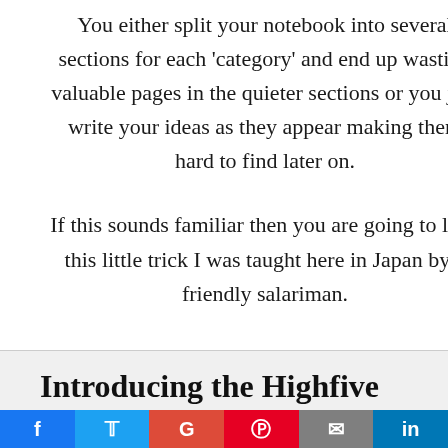You either split your notebook into several sections for each 'category' and end up wasting valuable pages in the quieter sections or you just write your ideas as they appear making them hard to find later on.
If this sounds familiar then you are going to love this little trick I was taught here in Japan by a friendly salariman.
Introducing the Highfive
42